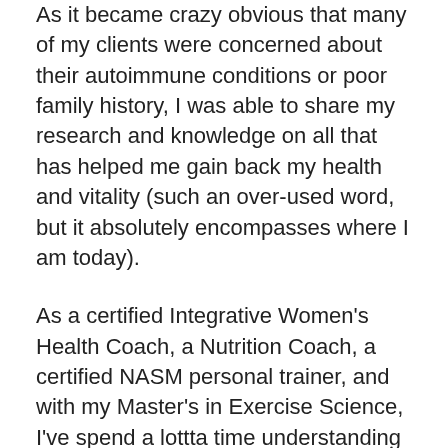As it became crazy obvious that many of my clients were concerned about their autoimmune conditions or poor family history, I was able to share my research and knowledge on all that has helped me gain back my health and vitality (such an over-used word, but it absolutely encompasses where I am today).
As a certified Integrative Women's Health Coach, a Nutrition Coach, a certified NASM personal trainer, and with my Master's in Exercise Science, I've spend a lottta time understanding how our bodies work and respond to the foods we consume, the exercises we choose – and how very crucial mindset is to how it all works.
And since we all love dessert and even the healthy stuff out there isn't always so healthy, I put together the Slim-WAISTed Mama™ mini dessert ebook so you could nail your next